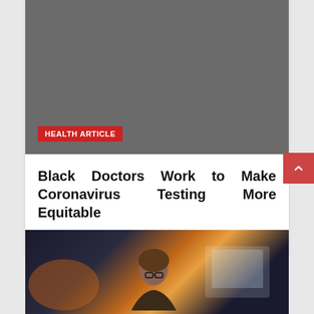[Figure (photo): Dark grey placeholder image for a health article]
HEALTH ARTICLE
Black Doctors Work to Make Coronavirus Testing More Equitable
October 13, 2020 / iwano@_84
[Figure (photo): Woman with glasses looking at a computer monitor in a dark office setting]